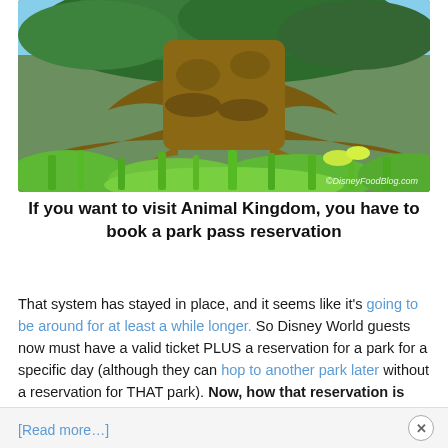[Figure (photo): Photo of the Tree of Life at Animal Kingdom, showing the massive carved tree trunk with animal figures, surrounded by lush green tropical vegetation and a blue sky with trees in the background. Watermark reads ©DisneyFoodBlog.com]
If you want to visit Animal Kingdom, you have to book a park pass reservation
That system has stayed in place, and it seems like it's going to be around for at least a while longer. So Disney World guests now must have a valid ticket PLUS a reservation for a park for a specific day (although they can hop to another park later without a reservation for THAT park). Now, how that reservation is made looks a little different on the My Disney Experience app.
[Read more…]